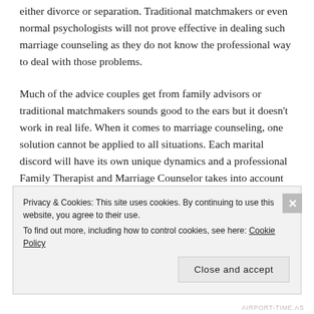either divorce or separation. Traditional matchmakers or even normal psychologists will not prove effective in dealing such marriage counseling as they do not know the professional way to deal with those problems.
Much of the advice couples get from family advisors or traditional matchmakers sounds good to the ears but it doesn't work in real life. When it comes to marriage counseling, one solution cannot be applied to all situations. Each marital discord will have its own unique dynamics and a professional Family Therapist and Marriage Counselor takes into account the uniqueness of each dynamic while dealing
Privacy & Cookies: This site uses cookies. By continuing to use this website, you agree to their use.
To find out more, including how to control cookies, see here: Cookie Policy
Close and accept